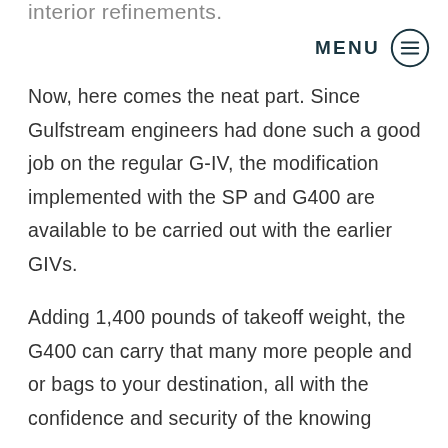interior refinements.
MENU
Now, here comes the neat part. Since Gulfstream engineers had done such a good job on the regular G-IV, the modification implemented with the SP and G400 are available to be carried out with the earlier GIVs.
Adding 1,400 pounds of takeoff weight, the G400 can carry that many more people and or bags to your destination, all with the confidence and security of the knowing